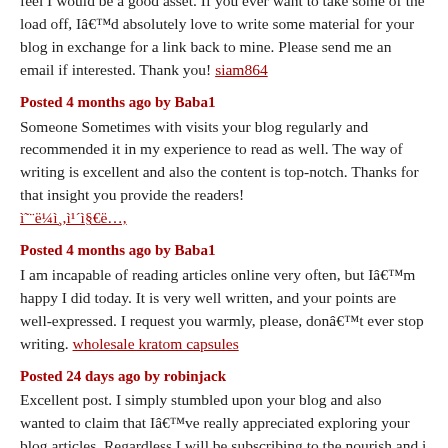feel I would be a good asset. If you ever want to take some of the load off, I'd absolutely love to write some material for your blog in exchange for a link back to mine. Please send me an email if interested. Thank you! siam864
Posted 4 months ago by Baba1
Someone Sometimes with visits your blog regularly and recommended it in my experience to read as well. The way of writing is excellent and also the content is top-notch. Thanks for that insight you provide the readers! ì˜ë¼ìƒ,ì¹ì§§€ë…,
Posted 4 months ago by Baba1
I am incapable of reading articles online very often, but I'm happy I did today. It is very well written, and your points are well-expressed. I request you warmly, please, don't ever stop writing. wholesale kratom capsules
Posted 24 days ago by robinjack
Excellent post. I simply stumbled upon your blog and also wanted to claim that I've really appreciated exploring your blog articles. Regardless I will be subscribing to the nourish and i also hope you write again shortly! pelisplus